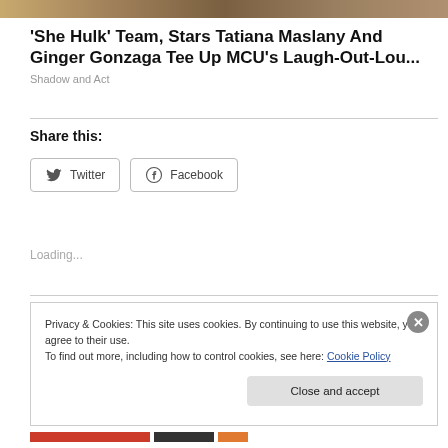[Figure (photo): Partial image strip at the top of the page]
'She Hulk' Team, Stars Tatiana Maslany And Ginger Gonzaga Tee Up MCU's Laugh-Out-Lou...
Shadow and Act
Share this:
Loading...
Privacy & Cookies: This site uses cookies. By continuing to use this website, you agree to their use.
To find out more, including how to control cookies, see here: Cookie Policy
Close and accept